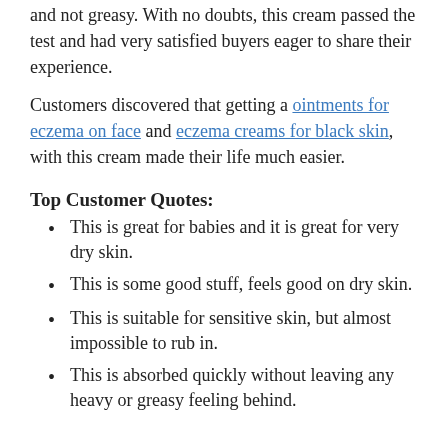and not greasy. With no doubts, this cream passed the test and had very satisfied buyers eager to share their experience.
Customers discovered that getting a ointments for eczema on face and eczema creams for black skin, with this cream made their life much easier.
Top Customer Quotes:
This is great for babies and it is great for very dry skin.
This is some good stuff, feels good on dry skin.
This is suitable for sensitive skin, but almost impossible to rub in.
This is absorbed quickly without leaving any heavy or greasy feeling behind.